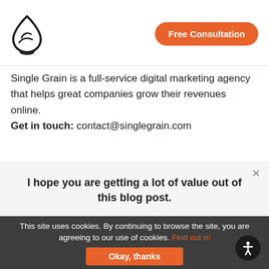[Figure (logo): Single Grain logo — stylized droplet/leaf outline icon in black]
Free Consultation
Single Grain is a full-service digital marketing agency that helps great companies grow their revenues online. Get in touch: contact@singlegrain.com
I hope you are getting a lot of value out of this blog post.
Do you want to learn more about this topic? Schedule a Free Consultation call with a Single Grain Expert now!
This site uses cookies. By continuing to browse the site, you are agreeing to our use of cookies. Find out m[ore]
Okay, thanks